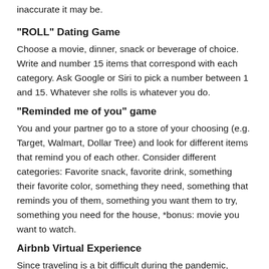inaccurate it may be.
“ROLL” Dating Game
Choose a movie, dinner, snack or beverage of choice. Write and number 15 items that correspond with each category. Ask Google or Siri to pick a number between 1 and 15. Whatever she rolls is whatever you do.
“Reminded me of you” game
You and your partner go to a store of your choosing (e.g. Target, Walmart, Dollar Tree) and look for different items that remind you of each other. Consider different categories: Favorite snack, favorite drink, something their favorite color, something they need, something that reminds you of them, something you want them to try, something you need for the house, *bonus: movie you want to watch.
Airbnb Virtual Experience
Since traveling is a bit difficult during the pandemic, Airbnb offers a variety of experiences without ever...